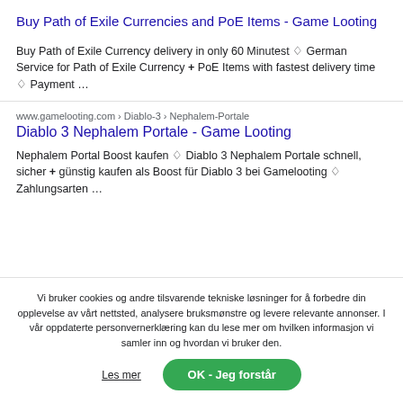Buy Path of Exile Currencies and PoE Items - Game Looting
Buy Path of Exile Currency delivery in only 60 Minutest ✠German Service for Path of Exile Currency ✛ PoE Items with fastest delivery time ✡ Payment …
www.gamelooting.com › Diablo-3 › Nephalem-Portale
Diablo 3 Nephalem Portale - Game Looting
Nephalem Portal Boost kaufen ✡ Diablo 3 Nephalem Portale schnell, sicher ✛ günstig kaufen als Boost für Diablo 3 bei Gamelooting ✡ Zahlungsarten …
Vi bruker cookies og andre tilsvarende tekniske løsninger for å forbedre din opplevelse av vårt nettsted, analysere bruksmønstre og levere relevante annonser. I vår oppdaterte personvernerklæring kan du lese mer om hvilken informasjon vi samler inn og hvordan vi bruker den.